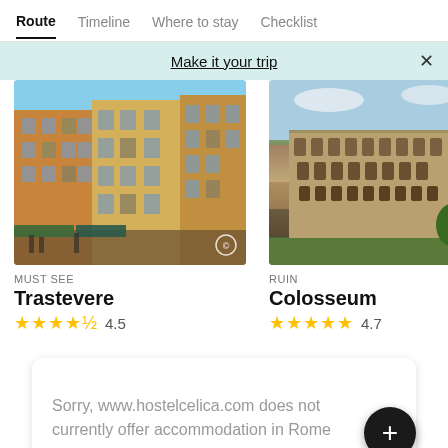Route  Timeline  Where to stay  Checklist
Make it your trip
[Figure (photo): Photo of Trastevere neighbourhood in Rome showing ochre and terracotta coloured buildings along a piazza]
MUST SEE
Trastevere
4.5
[Figure (photo): Aerial photo of the Colosseum in Rome with surrounding gardens and the Arch of Constantine visible]
RUIN
Colosseum
4.7
Sorry, www.hostelcelica.com does not currently offer accommodation in Rome